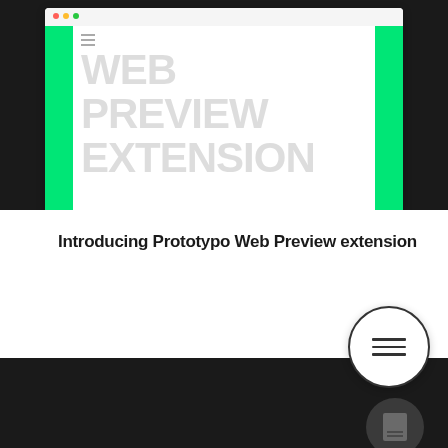[Figure (screenshot): Browser screenshot showing a web page with green sidebar bars on left and right, and large faded uppercase text reading WEB PREVIEW EXTENSION on white background]
Introducing Prototypo Web Preview extension
[Figure (illustration): White circle with three horizontal menu lines (hamburger icon) overlapping the boundary between white and dark sections]
[Figure (illustration): Dark grey circle with a document/page icon inside, on dark background]